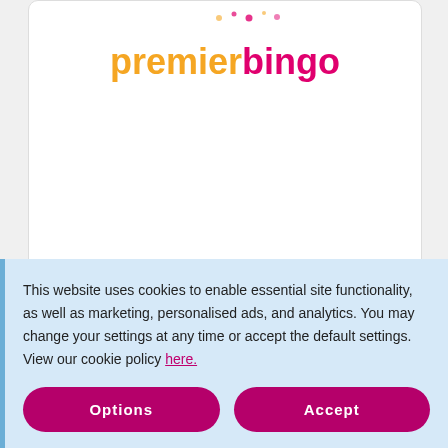[Figure (logo): Premier Bingo logo with orange 'premier' and pink 'bingo' text and decorative dots above]
[Figure (logo): Magnet (maaNet) logo in orange/red bold stylized text]
This website uses cookies to enable essential site functionality, as well as marketing, personalised ads, and analytics. You may change your settings at any time or accept the default settings. View our cookie policy here.